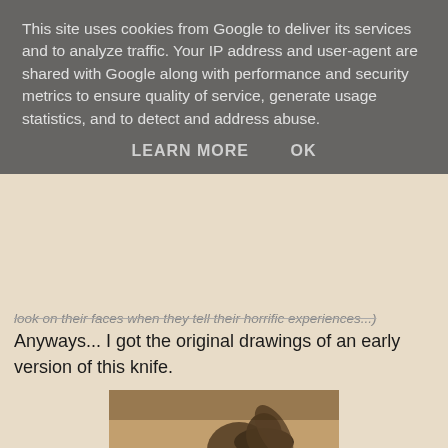This site uses cookies from Google to deliver its services and to analyze traffic. Your IP address and user-agent are shared with Google along with performance and security metrics to ensure quality of service, generate usage statistics, and to detect and address abuse.
LEARN MORE    OK
look on their faces when they tell their horrific experiences...)
Anyways... I got the original drawings of an early version of this knife.
[Figure (photo): Black and white historical photograph showing soldiers in military uniforms, one appears to be carrying or supporting another, wearing WWI/WWII era gear including helmets and a wide-brimmed hat]